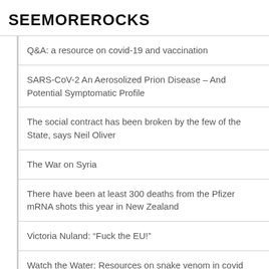SEEMOREROCKS
Q&A: a resource on covid-19 and vaccination
SARS-CoV-2 An Aerosolized Prion Disease – And Potential Symptomatic Profile
The social contract has been broken by the few of the State, says Neil Oliver
The War on Syria
There have been at least 300 deaths from the Pfizer mRNA shots this year in New Zealand
Victoria Nuland: “Fuck the EU!”
Watch the Water: Resources on snake venom in covid and mRNA vaccines
Xinjiang Police File Hack – Why China is